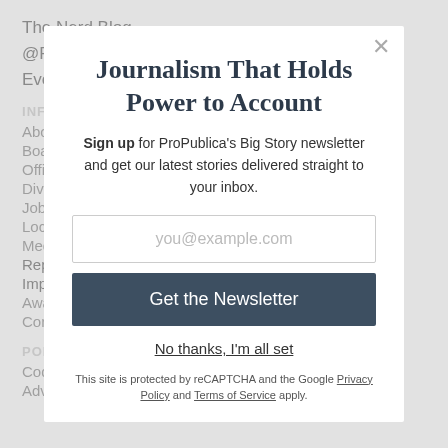The Nerd Blog
@ProPublica
Events
INFO
About B...
Board and Advisors
Officers and Staff
Diversity
Jobs and Fellowships
Local Initiatives
Media Center
Reports
Impact
Awards
Corrections
POLICIES
Code of Ethics
Advertising Policy
Journalism That Holds Power to Account
Sign up for ProPublica's Big Story newsletter and get our latest stories delivered straight to your inbox.
you@example.com
Get the Newsletter
No thanks, I'm all set
This site is protected by reCAPTCHA and the Google Privacy Policy and Terms of Service apply.